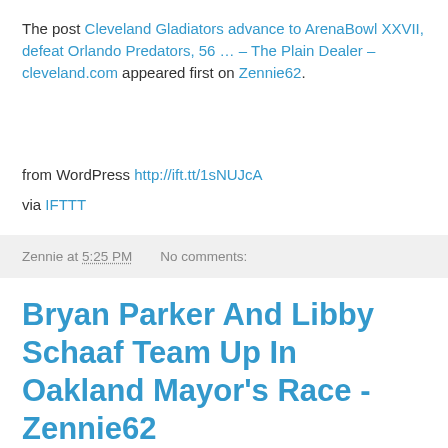The post Cleveland Gladiators advance to ArenaBowl XXVII, defeat Orlando Predators, 56 … – The Plain Dealer – cleveland.com appeared first on Zennie62.
from WordPress http://ift.tt/1sNUJcA
via IFTTT
Zennie at 5:25 PM    No comments:
Bryan Parker And Libby Schaaf Team Up In Oakland Mayor's Race - Zennie62